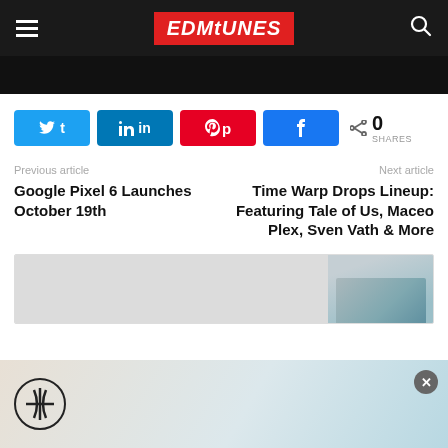EDMTunes navigation bar with hamburger menu, EDMTunes logo, and search icon
[Figure (screenshot): Black hero image band (cropped bottom of a photo)]
Share buttons: Twitter, LinkedIn, Pinterest, Facebook. 0 SHARES
Previous article: Google Pixel 6 Launches October 19th
Next article: Time Warp Drops Lineup: Featuring Tale of Us, Maceo Plex, Sven Vath & More
[Figure (photo): Related article image partially visible, building/architecture photo]
[Figure (logo): Advertisement bar with circular logo at bottom of page, close X button]